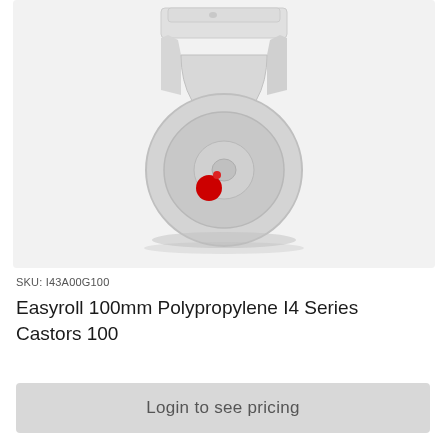[Figure (photo): A white/light grey polypropylene fixed castor wheel (100mm) with a red dot on the wheel hub, shown on a light grey background. The castor has a fixed top plate bracket.]
SKU: I43A00G100
Easyroll 100mm Polypropylene I4 Series Castors 100
Login to see pricing